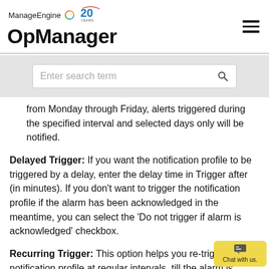ManageEngine OpManager
from Monday through Friday, alerts triggered during the specified interval and selected days only will be notified.
Delayed Trigger: If you want the notification profile to be triggered by a delay, enter the delay time in Trigger after (in minutes). If you don't want to trigger the notification profile if the alarm has been acknowledged in the meantime, you can select the 'Do not trigger if alarm is acknowledged' checkbox.
Recurring Trigger: This option helps you re-trigger the notification profile at regular intervals, till the alarm is cleared. Enter the Trigger interval and Restrict the number of triggers to. For instance, if you set trigger interval as 10 mins and restrict the